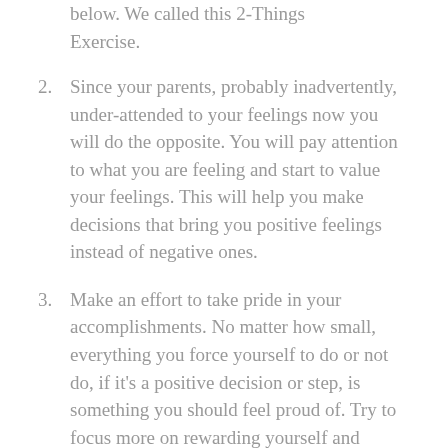below. We called this 2-Things Exercise.
2. Since your parents, probably inadvertently, under-attended to your feelings now you will do the opposite. You will pay attention to what you are feeling and start to value your feelings. This will help you make decisions that bring you positive feelings instead of negative ones.
3. Make an effort to take pride in your accomplishments. No matter how small, everything you force yourself to do or not do, if it's a positive decision or step, is something you should feel proud of. Try to focus more on rewarding yourself and feeling proud of yourself in small bursts throughout your everyday life.